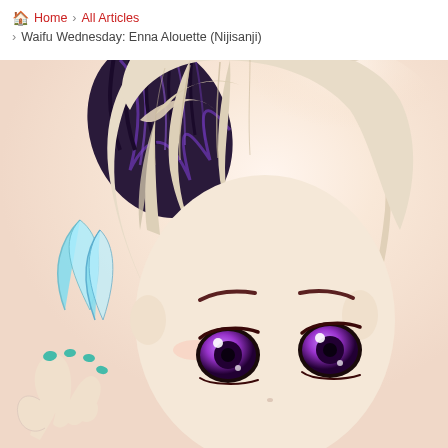🏠 Home > All Articles > Waifu Wednesday: Enna Alouette (Nijisanji)
[Figure (illustration): Anime-style illustration of Enna Alouette from Nijisanji VTuber group, showing a close-up of her face with platinum/blonde hair, purple eyes, dark feathered crow wings, teal-colored wing feathers, and teal fingernails visible on a raised hand in the lower left.]